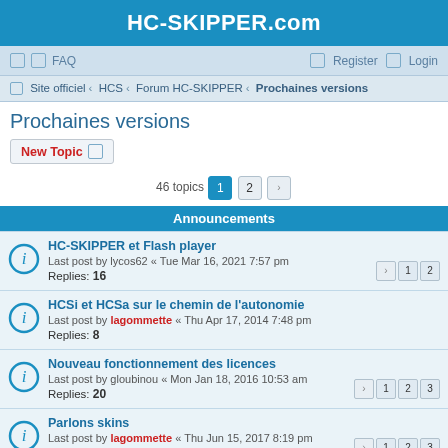HC-SKIPPER.com
FAQ   Register   Login
Site officiel › HCS › Forum HC-SKIPPER › Prochaines versions
Prochaines versions
New Topic
46 topics   1   2
Announcements
HC-SKIPPER et Flash player
Last post by lycos62 « Tue Mar 16, 2021 7:57 pm
Replies: 16
HCSi et HCSa sur le chemin de l'autonomie
Last post by lagommette « Thu Apr 17, 2014 7:48 pm
Replies: 8
Nouveau fonctionnement des licences
Last post by gloubinou « Mon Jan 18, 2016 10:53 am
Replies: 20
Parlons skins
Last post by lagommette « Thu Jun 15, 2017 8:19 pm
Replies: 30